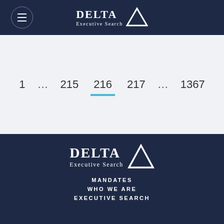[Figure (logo): Delta Executive Search logo in white on dark navy header bar with hamburger menu icon in circle]
1  ...  215  216  217  ...  1367
[Figure (logo): Delta Executive Search logo in white on dark navy footer background]
MANDATES
WHO WE ARE
EXECUTIVE SEARCH